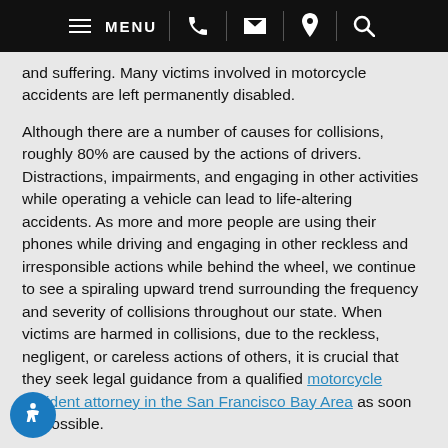MENU
and suffering. Many victims involved in motorcycle accidents are left permanently disabled.
Although there are a number of causes for collisions, roughly 80% are caused by the actions of drivers. Distractions, impairments, and engaging in other activities while operating a vehicle can lead to life-altering accidents. As more and more people are using their phones while driving and engaging in other reckless and irresponsible actions while behind the wheel, we continue to see a spiraling upward trend surrounding the frequency and severity of collisions throughout our state. When victims are harmed in collisions, due to the reckless, negligent, or careless actions of others, it is crucial that they seek legal guidance from a qualified motorcycle accident attorney in the San Francisco Bay Area as soon as possible.